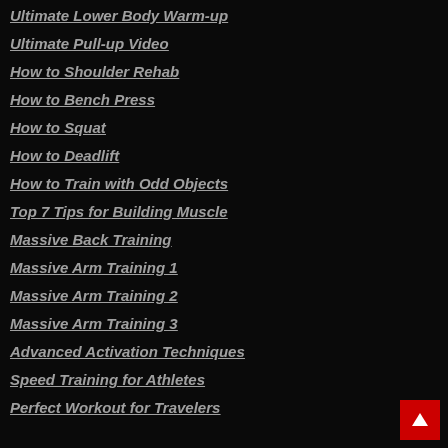Ultimate Lower Body Warm-up
Ultimate Pull-up Video
How to Shoulder Rehab
How to Bench Press
How to Squat
How to Deadlift
How to Train with Odd Objects
Top 7 Tips for Building Muscle
Massive Back Training
Massive Arm Training 1
Massive Arm Training 2
Massive Arm Training 3
Advanced Activation Techniques
Speed Training for Athletes
Perfect Workout for Travelers